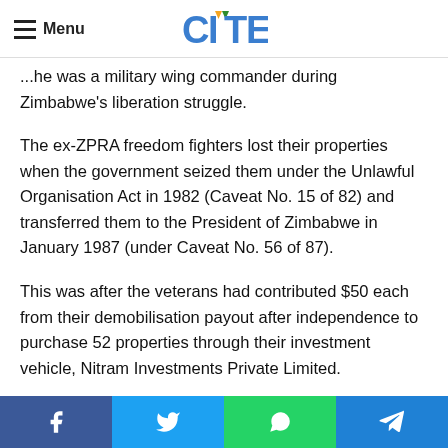Menu | CITE logo
...he was a military wing commander during Zimbabwe's liberation struggle.
The ex-ZPRA freedom fighters lost their properties when the government seized them under the Unlawful Organisation Act in 1982 (Caveat No. 15 of 82) and transferred them to the President of Zimbabwe in January 1987 (under Caveat No. 56 of 87).
This was after the veterans had contributed $50 each from their demobilisation payout after independence to purchase 52 properties through their investment vehicle, Nitram Investments Private Limited.
Since then ZPRA has been lobbying the government to
Facebook | Twitter | WhatsApp | Telegram